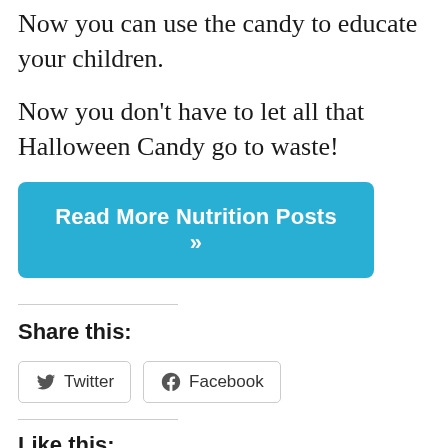Now you can use the candy to educate your children.
Now you don't have to let all that Halloween Candy go to waste!
[Figure (other): Blue rounded button labeled 'Read More Nutrition Posts »']
Share this:
[Figure (other): Twitter and Facebook share buttons]
Like this:
[Figure (other): Like button with blue star icon]
Be the first to like this.